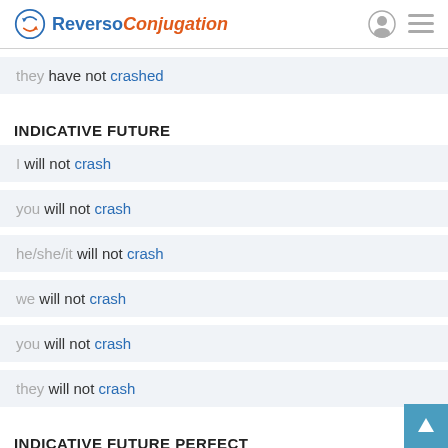Reverso Conjugation
they have not crashed
INDICATIVE FUTURE
I will not crash
you will not crash
he/she/it will not crash
we will not crash
you will not crash
they will not crash
INDICATIVE FUTURE PERFECT